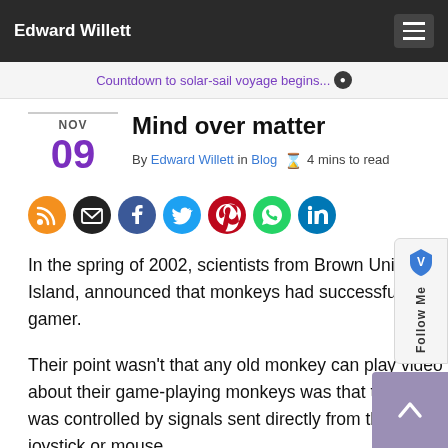Edward Willett
Countdown to solar-sail voyage begins... ●
Mind over matter
By Edward Willett in Blog ⌛ 4 mins to read
[Figure (infographic): Row of social sharing icons: RSS (orange), Email (dark), Facebook (blue), Twitter (light blue), Pinterest (red), WhatsApp (green), LinkedIn (blue)]
In the spring of 2002, scientists from Brown University in Providence, Rhode Island, announced that monkeys had successfully played a simple computer gamer.
Their point wasn't that any old monkey can play video games. What was special about their game-playing monkeys was that the on-screen cursor in the game was controlled by signals sent directly from the monkeys' brains, not by a joystick or mouse.